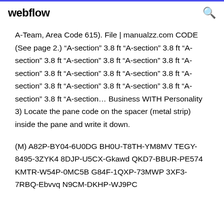webflow
A-Team, Area Code 615). File | manualzz.com CODE (See page 2.) “A-section” 3.8 ft “A-section” 3.8 ft “A-section” 3.8 ft “A-section” 3.8 ft “A-section” 3.8 ft “A-section” 3.8 ft “A-section” 3.8 ft “A-section” 3.8 ft “A-section” 3.8 ft “A-section” 3.8 ft “A-section” 3.8 ft “A-section” 3.8 ft “A-section... Business WITH Personality 3) Locate the pane code on the spacer (metal strip) inside the pane and write it down.
(M) A82P-BY04-6U0DG BH0U-T8TH-YM8MV TEGY-8495-3ZYK4 8DJP-U5CX-Gkawd QKD7-BBUR-PE574 KMTR-W54P-0MC5B G84F-1QXP-73MWP 3XF3-7RBQ-Ebvvq N9CM-DKHP-WJ9PC